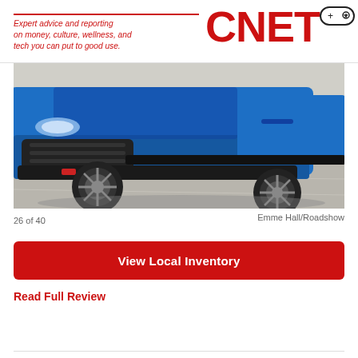CNET — Expert advice and reporting on money, culture, wellness, and tech you can put to good use.
[Figure (photo): Blue Jeep Compass SUV front/side view, low angle shot showing front bumper, wheels, and side body. Taken outdoors on pavement.]
26 of 40   Emme Hall/Roadshow
View Local Inventory
Read Full Review